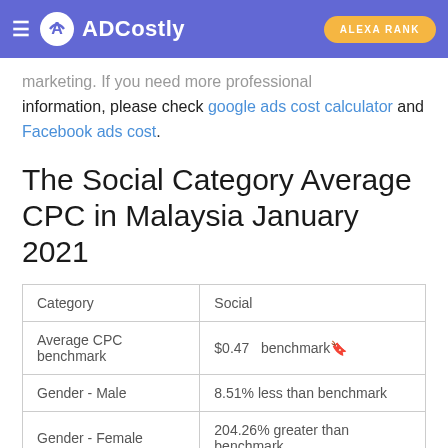ADCostly | ALEXA RANK
marketing. If you need more professional information, please check google ads cost calculator and Facebook ads cost.
The Social Category Average CPC in Malaysia January 2021
| Category | Social |
| --- | --- |
| Average CPC benchmark | $0.47   benchmark🔖 |
| Gender - Male | 8.51% less than benchmark |
| Gender - Female | 204.26% greater than benchmark |
|  |  |